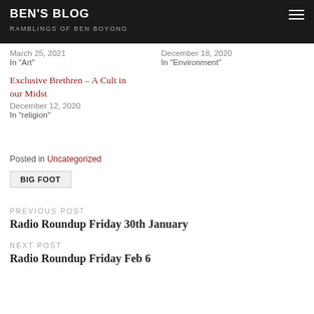BEN'S BLOG
RAMBLINGS OF BEN BOYONG
March 25, 2021
In "Art"
December 18, 2020
In "Environment"
Exclusive Brethren – A Cult in our Midst
December 12, 2020
In "religion"
Posted in Uncategorized
BIG FOOT
PREVIOUS POST
Radio Roundup Friday 30th January
NEXT POST
Radio Roundup Friday Feb 6